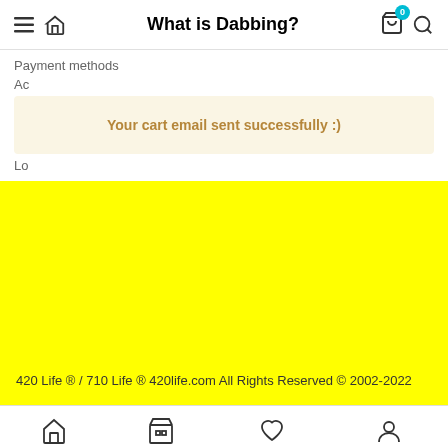What is Dabbing?
Payment methods
Ac
Your cart email sent successfully :)
Lo
420 Life ® / 710 Life ® 420life.com All Rights Reserved © 2002-2022
Home Shop Wishlist Account